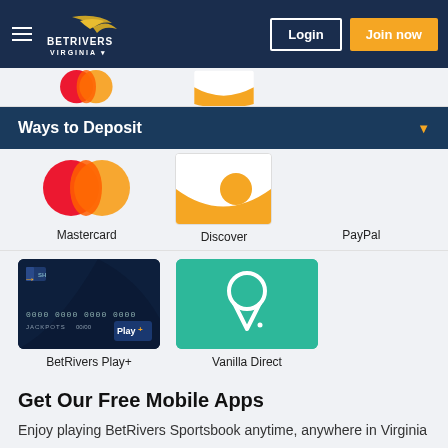[Figure (screenshot): BetRivers Virginia navigation bar with hamburger menu, logo, Login button, and Join now button]
Ways to Deposit
[Figure (logo): Mastercard logo - red and orange overlapping circles]
Mastercard
[Figure (logo): Discover card logo - white box with orange swoosh]
Discover
PayPal
[Figure (photo): BetRivers Play+ card - dark blue card with SH logo, card number dots, Jackpots text, Play+ branding]
BetRivers Play+
[Figure (logo): Vanilla Direct logo - green background with white V-shaped ice cream cone icon]
Vanilla Direct
Get Our Free Mobile Apps
Enjoy playing BetRivers Sportsbook anytime, anywhere in Virginia